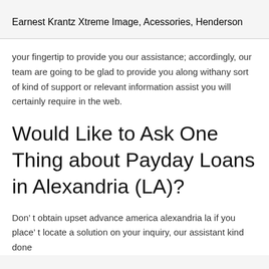Earnest Krantz Xtreme Image, Acessories, Henderson
your fingertip to provide you our assistance; accordingly, our team are going to be glad to provide you along withany sort of kind of support or relevant information assist you will certainly require in the web.
Would Like to Ask One Thing about Payday Loans in Alexandria (LA)?
Don’ t obtain upset advance america alexandria la if you place’ t locate a solution on your inquiry, our assistant kind done